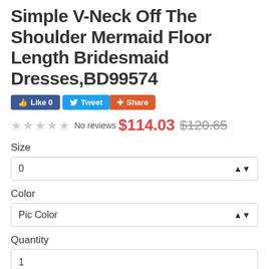Simple V-Neck Off The Shoulder Mermaid Floor Length Bridesmaid Dresses,BD99574
[Figure (infographic): Social sharing buttons: Like 0 (Facebook), Tweet (Twitter), Share (Google+)]
★★★★★ No reviews $114.03 $120.65
Size
0
Color
Pic Color
Quantity
1